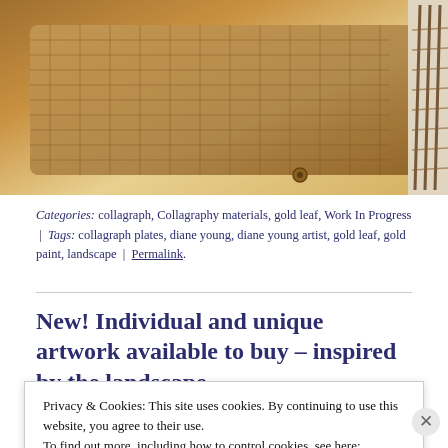[Figure (photo): Close-up photo of textured artwork materials — collagraph plate with woven/mesh texture in warm golden-brown tones, showing rope or twine detail on the right side against a light background.]
Categories: collagraph, Collagraphy materials, gold leaf, Work In Progress | Tags: collagraph plates, diane young, diane young artist, gold leaf, gold paint, landscape | Permalink.
New! Individual and unique artwork available to buy – inspired by the landscape
Privacy & Cookies: This site uses cookies. By continuing to use this website, you agree to their use.
To find out more, including how to control cookies, see here:
Cookie Policy
Close and accept